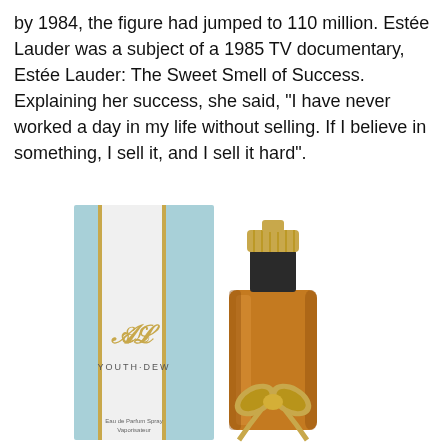by 1984, the figure had jumped to 110 million. Estée Lauder was a subject of a 1985 TV documentary, Estée Lauder: The Sweet Smell of Success. Explaining her success, she said, "I have never worked a day in my life without selling. If I believe in something, I sell it, and I sell it hard".
[Figure (photo): Photo of Estée Lauder Youth Dew perfume bottle with amber liquid and gold bow, alongside its light blue and white box with gold lettering showing the EL monogram and YOUTH DEW branding. Box text at bottom reads 'Eau de Parfum Spray Vaporisateur'.]